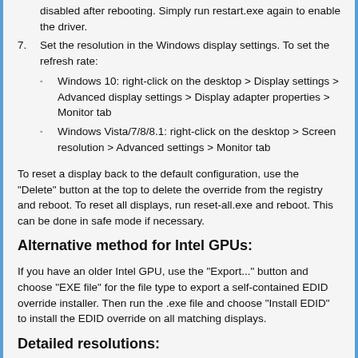7. Set the resolution in the Windows display settings. To set the refresh rate:
Windows 10: right-click on the desktop > Display settings > Advanced display settings > Display adapter properties > Monitor tab
Windows Vista/7/8/8.1: right-click on the desktop > Screen resolution > Advanced settings > Monitor tab
To reset a display back to the default configuration, use the "Delete" button at the top to delete the override from the registry and reboot. To reset all displays, run reset-all.exe and reboot. This can be done in safe mode if necessary.
Alternative method for Intel GPUs:
If you have an older Intel GPU, use the "Export..." button and choose "EXE file" for the file type to export a self-contained EDID override installer. Then run the .exe file and choose "Install EDID" to install the EDID override on all matching displays.
Detailed resolutions:
Detailed resolutions are the preferred way to add custom